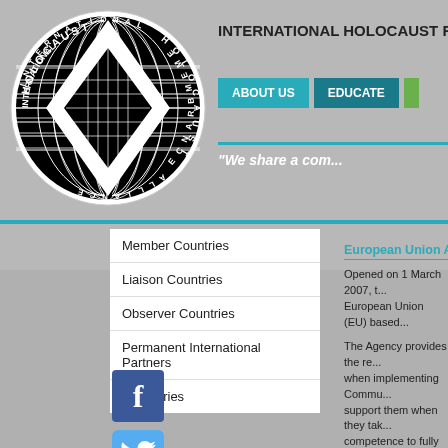[Figure (logo): International Holocaust Remembrance Alliance circular logo with globe and diamond shapes, text reading HOLOCAUST INTERNATIONAL ALLIANCE REMEMBRANCE around the border]
INTERNATIONAL HOLOCAUST REMEMBR...
ABOUT US   EDUCATE
“We share a com...
Member Countries
Liaison Countries
Observer Countries
Permanent International Partners
Directories
[Figure (logo): Facebook logo icon - blue square with white lowercase f]
[Figure (logo): Twitter logo icon - light blue square with white bird]
European Union Agency f...
Opened on 1 March 2007, t... European Union (EU) based...
The Agency provides the re... when implementing Commu... support them when they tak... competence to fully respect...
Geographical Scope: